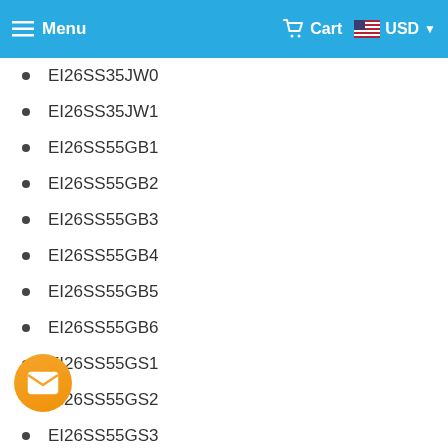Menu  Cart  USD
EI26SS35JW0
EI26SS35JW1
EI26SS55GB1
EI26SS55GB2
EI26SS55GB3
EI26SS55GB4
EI26SS55GB5
EI26SS55GB6
EI26SS55GS1
EI26SS55GS2
EI26SS55GS3
EI26SS55GS4
EI26SS55GS5
EI26SS55GS6